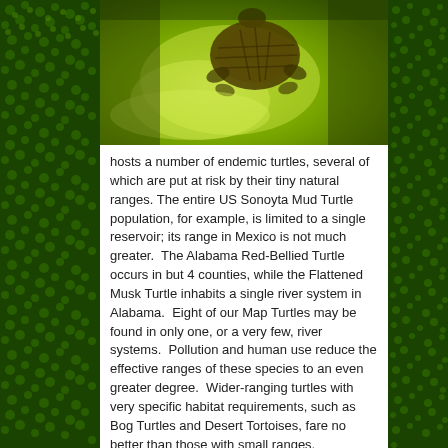[Figure (photo): Close-up photograph of a turtle on green aquatic vegetation, viewed from above, showing the turtle's shell and head.]
hosts a number of endemic turtles, several of which are put at risk by their tiny natural ranges. The entire US Sonoyta Mud Turtle population, for example, is limited to a single reservoir; its range in Mexico is not much greater. The Alabama Red-Bellied Turtle occurs in but 4 counties, while the Flattened Musk Turtle inhabits a single river system in Alabama. Eight of our Map Turtles may be found in only one, or a very few, river systems. Pollution and human use reduce the effective ranges of these species to an even greater degree. Wider-ranging turtles with very specific habitat requirements, such as Bog Turtles and Desert Tortoises, fare no better than those with small ranges.
Status of Turtles